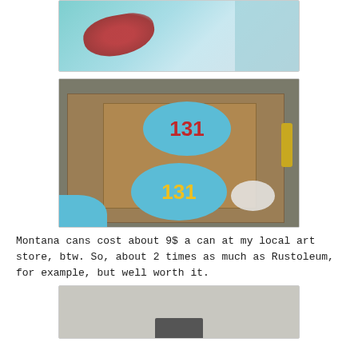[Figure (photo): Spray painted surface with red and teal/blue colors on cardboard or paper]
[Figure (photo): Cardboard pieces on ground with '131' painted in red on a blue oval and '131' painted in yellow on a blue oval, spray paint cans visible]
Montana cans cost about 9$ a can at my local art store, btw. So, about 2 times as much as Rustoleum, for example, but well worth it.
[Figure (photo): Partially visible photo showing a wall or surface at bottom of page]